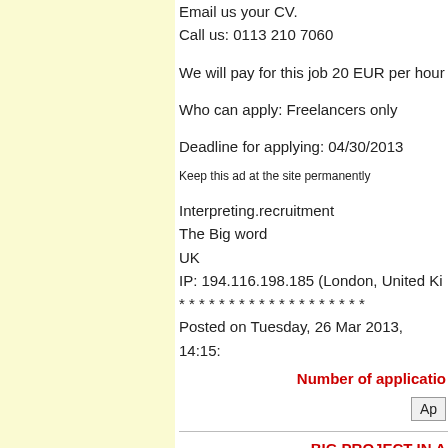Email us your CV.
Call us: 0113 210 7060
We will pay for this job 20 EUR per hour
Who can apply: Freelancers only
Deadline for applying: 04/30/2013
Keep this ad at the site permanently
Interpreting.recruitment
The Big word
UK
IP: 194.116.198.185 (London, United Ki...
* * * * * * * * * * * * * * * * * * *
Posted on Tuesday, 26 Mar 2013, 14:15:...
Number of applicatio...
Ap...
BIG PROJECT IN A...
Source language(s): English
Target language(s): All languages
Details of the project: Project Topic : Edu...
Fo... Pa... & TTF Fo...